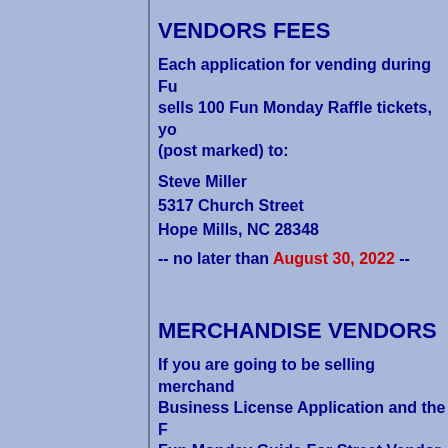VENDORS FEES
Each application for vending during Fu sells 100 Fun Monday Raffle tickets, yo (post marked) to:
Steve Miller
5317 Church Street
Hope Mills, NC 28348
-- no later than August 30, 2022 --
MERCHANDISE VENDORS
If you are going to be selling merchand Business License Application and the F Fun Monday Guide For Street Vendor